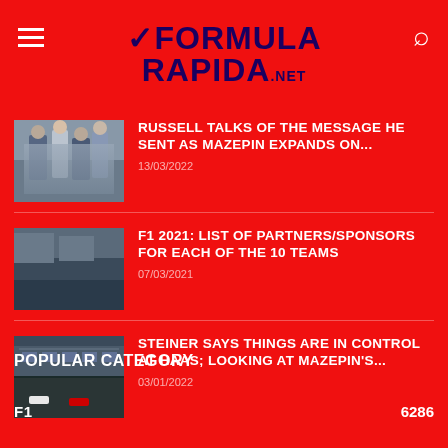FORMULA RAPIDA.net
RUSSELL TALKS OF THE MESSAGE HE SENT AS MAZEPIN EXPANDS ON...
13/03/2022
F1 2021: LIST OF PARTNERS/SPONSORS FOR EACH OF THE 10 TEAMS
07/03/2021
STEINER SAYS THINGS ARE IN CONTROL AT HAAS; LOOKING AT MAZEPIN'S...
03/01/2022
POPULAR CATEGORY
F1   6286